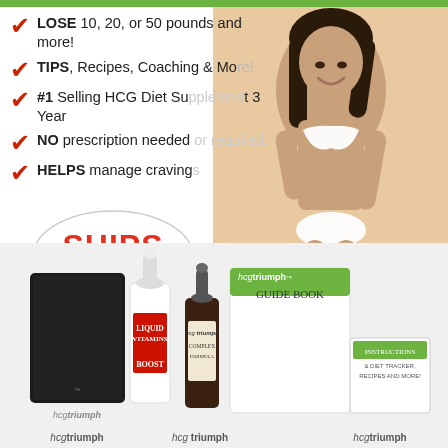LOSE 10, 20, or 50 pounds and more!
TIPS, Recipes, Coaching & More!
#1 Selling HCG Diet Supplement for 3 Year
NO prescription needed or required.
HELPS manage cravings
[Figure (infographic): Promotional infographic for HCG Triumph weight loss product. Shows a woman in a white bikini, a speech-bubble badge reading SHIPS SAME BUSINESS DAY, and product photos (liquid vitamins bottle, HCG Triumph drops, guide book, and accessories) in the lower portion.]